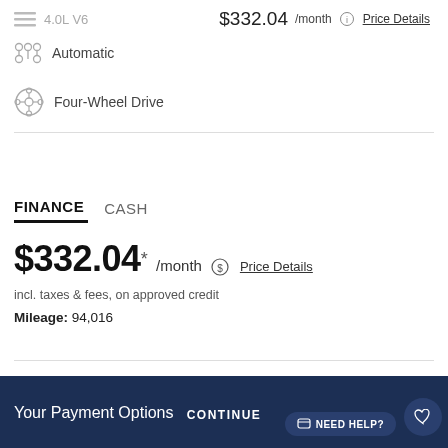4.0L V6  $332.04 /month  Price Details
Automatic
Four-Wheel Drive
FINANCE  CASH
$332.04 * /month  Price Details
incl. taxes & fees, on approved credit
Mileage: 94,016
Your Payment Options
CONTINUE
NEED HELP?